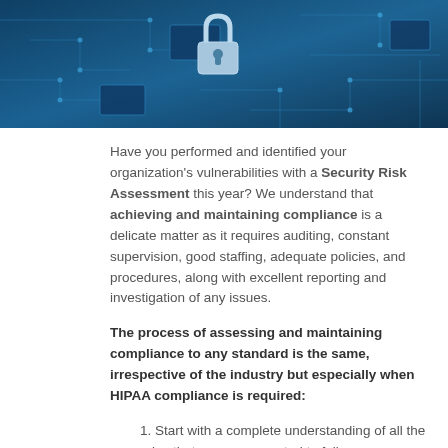[Figure (photo): Close-up photo of a circuit board with a padlock on top, in blue tones, representing cybersecurity or data security.]
Have you performed and identified your organization's vulnerabilities with a Security Risk Assessment this year? We understand that achieving and maintaining compliance is a delicate matter as it requires auditing, constant supervision, good staffing, adequate policies, and procedures, along with excellent reporting and investigation of any issues.
The process of assessing and maintaining compliance to any standard is the same, irrespective of the industry but especially when HIPAA compliance is required:
1. Start with a complete understanding of all the rules that you are expected to follow